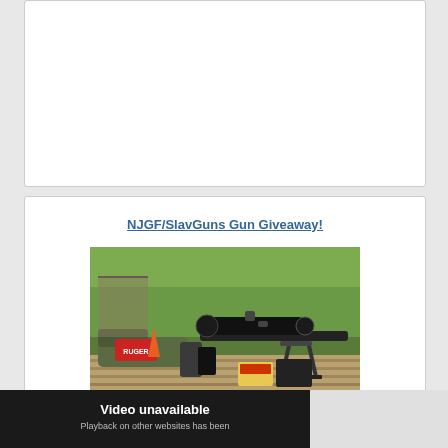[Figure (photo): Top portion of a card/post, mostly white, partially visible at top of page]
NJGF/SlavGuns Gun Giveaway!
[Figure (photo): Photo of a Ruger bolt-action rifle with scope mounted on a bipod, olive drab stock, on a wooden table outdoors with grass background. Wolf ammunition box visible.]
[Figure (screenshot): Video unavailable message on dark background. Text reads 'Video unavailable' and 'Playback on other websites has been']